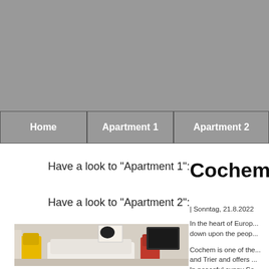[Figure (photo): Gray banner/header image at the top of the webpage]
Home | Apartment 1 | Apartment 2
Have a look to "Apartment 1":
Have a look to "Apartment 2":
[Figure (photo): Interior photo of an apartment living room with yellow and red chairs, TV, and modern decor]
Cochem
| Sonntag, 21.8.2022
In the heart of Europ... down upon the peop...
Cochem is one of the... and Trier and offers... In peaceful sunny Se...